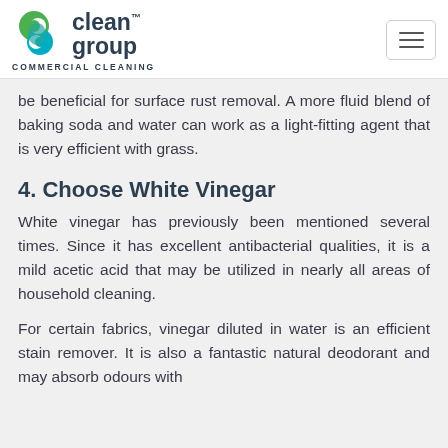[Figure (logo): Clean Group Commercial Cleaning logo with green/teal circular C icon and dark text]
be beneficial for surface rust removal. A more fluid blend of baking soda and water can work as a light-fitting agent that is very efficient with grass.
4. Choose White Vinegar
White vinegar has previously been mentioned several times. Since it has excellent antibacterial qualities, it is a mild acetic acid that may be utilized in nearly all areas of household cleaning.
For certain fabrics, vinegar diluted in water is an efficient stain remover. It is also a fantastic natural deodorant and may absorb odours with